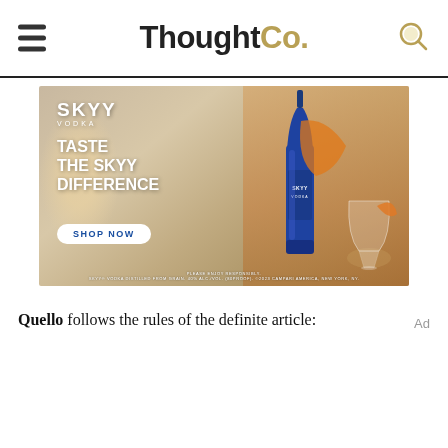ThoughtCo.
[Figure (photo): SKYY Vodka advertisement showing a blue vodka bottle, cocktail glasses with orange garnish, and text: SKYY VODKA - TASTE THE SKYY DIFFERENCE - SHOP NOW. Please enjoy responsibly disclaimer at bottom.]
Quello follows the rules of the definite article: